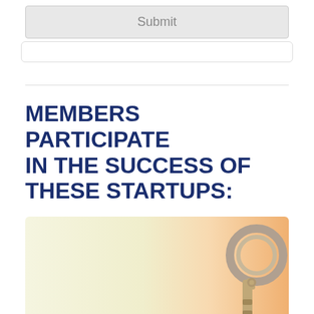[Figure (screenshot): A gray submit button with the label 'Submit' centered inside a light gray rounded rectangle box]
MEMBERS PARTICIPATE IN THE SUCCESS OF THESE STARTUPS:
[Figure (photo): A photo with a cream/light green gradient on the left and warm orange gradient on the right, featuring keys and a keychain on the right side]